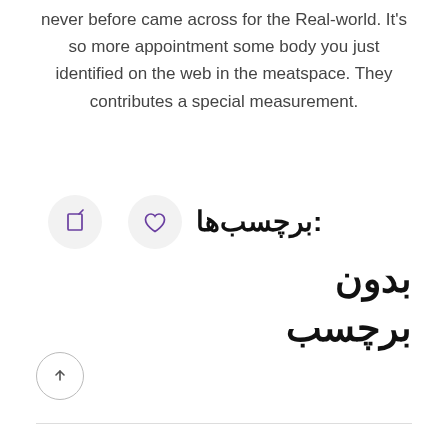never before came across for the Real-world. It's so more appointment some body you just identified on the web in the meatspace. They contributes a special measurement.
[Figure (other): Two circular icon buttons (share and heart/like) with purple outlines on light grey circles, followed by Persian label text reading برچسب‌ها: بدون برچسب]
برچسب‌ها: بدون برچسب
[Figure (other): Circular scroll-to-top button with upward arrow]